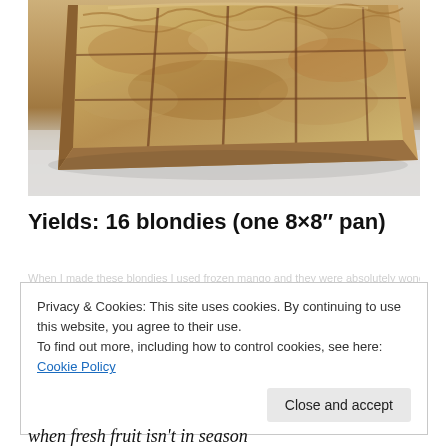[Figure (photo): Close-up photo of golden-brown blondies (bar cookies) cut into squares, arranged on a light gray/white surface. The blondies have a crinkled, slightly crispy top with visible cut lines between pieces.]
Yields: 16 blondies (one 8×8" pan)
Privacy & Cookies: This site uses cookies. By continuing to use this website, you agree to their use.
To find out more, including how to control cookies, see here: Cookie Policy
Close and accept
when fresh fruit isn't in season